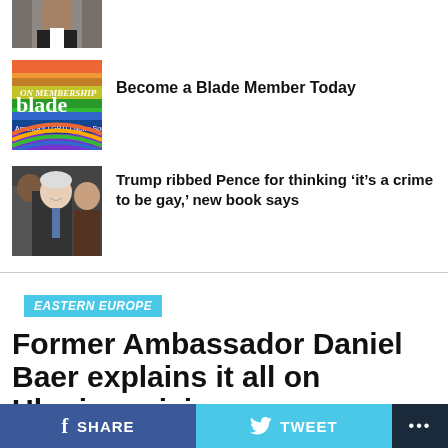[Figure (photo): Partial photo of a person in a suit, cropped at top]
[Figure (logo): Washington Blade membership logo with rainbow colors]
Become a Blade Member Today
[Figure (photo): Photo of Mike Pence and other politicians]
Trump ribbed Pence for thinking ‘it’s a crime to be gay,’ new book says
EASTERN EUROPE
Former Ambassador Daniel Baer explains it all on Ukraine crisis
Expert downplays strategic thinking behind Putin's move
SHARE   TWEET